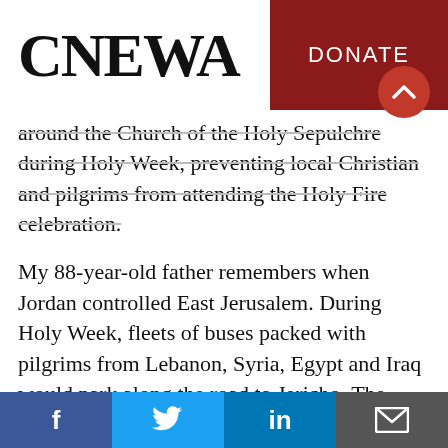CNEWA | DONATE
around the Church of the Holy Sepulchre during Holy Week, preventing local Christian and pilgrims from attending the Holy Fire celebration.
My 88-year-old father remembers when Jordan controlled East Jerusalem. During Holy Week, fleets of buses packed with pilgrims from Lebanon, Syria, Egypt and Iraq would park along the road to Jericho. The crowds of pilgrims would walk to the celebration in the Old City. Their numbers far exceeded today's turnout at
Facebook | Twitter | LinkedIn | Email